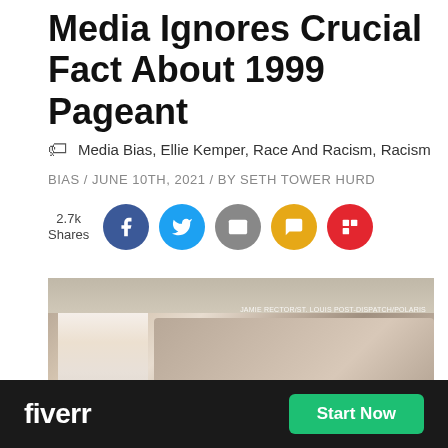Media Ignores Crucial Fact About 1999 Pageant
Media Bias, Ellie Kemper, Race And Racism, Racism
BIAS / JUNE 10TH, 2021 / BY SETH TOWER HURD
2.7k Shares
[Figure (photo): Photo of a young woman in a white formal gown and white gloves at what appears to be a pageant event, with a crowd of people behind her including young girls in white costumes. Watermark reads: JAMIE RECTOR/ST. LOUIS POST-DISPATCH/POLARIS]
[Figure (infographic): Fiverr advertisement banner with black background, white 'fiverr' logo text on the left and a green 'Start Now' button on the right]